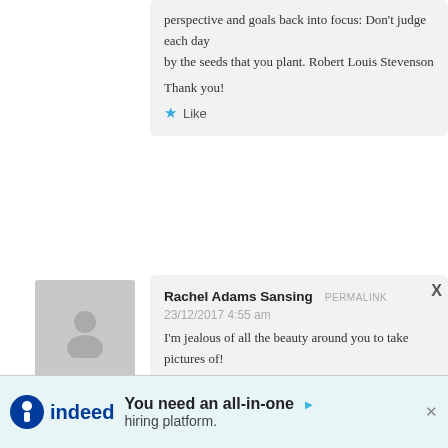perspective and goals back into focus: Don't judge each day by the seeds that you plant. Robert Louis Stevenson
Thank you!
Like
[Figure (photo): Default avatar placeholder silhouette]
Rachel Adams Sansing PERMALINK
23/12/2017 4:55 am
I'm jealous of all the beauty around you to take pictures of!
Like
[Figure (photo): Default avatar placeholder silhouette]
Ronnie Epsi PERMALINK
[Figure (screenshot): Indeed advertisement banner: You need an all-in-one hiring platform.]